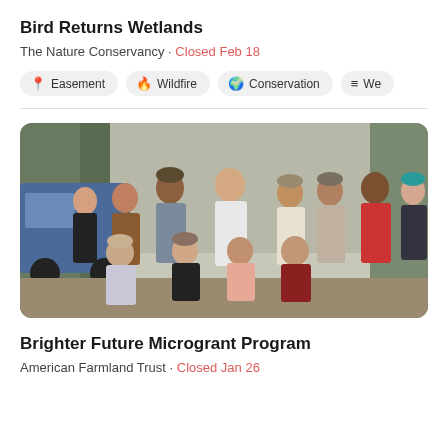Bird Returns Wetlands
The Nature Conservancy · Closed Feb 18
Easement
Wildfire
Conservation
We...
[Figure (photo): Group photo of approximately 12 people standing and crouching outdoors in a wooded area, wearing casual clothing including a white HAWK COUNTRY shirt and a red shirt. Some wear caps. Background shows bare trees and a blue vehicle.]
Brighter Future Microgrant Program
American Farmland Trust · Closed Jan 26